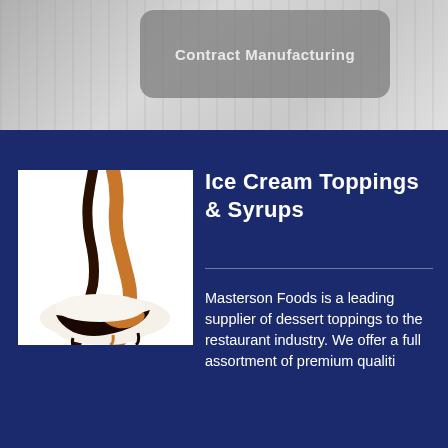[Figure (photo): Gray background photo area with a rounded rectangle box containing the text 'Contract Manufacturing']
Ice Cream Toppings & Syrups
[Figure (photo): Photo of chocolate and caramel ice cream toppings/syrups drizzled over ice cream on a white background]
Masterson Foods is a leading supplier of dessert toppings to the restaurant industry. We offer a full assortment of premium quality